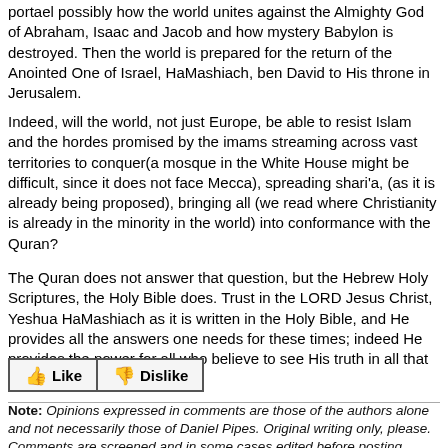portael possibly how the world unites against the Almighty God of Abraham, Isaac and Jacob and how mystery Babylon is destroyed. Then the world is prepared for the return of the Anointed One of Israel, HaMashiach, ben David to His throne in Jerusalem.
Indeed, will the world, not just Europe, be able to resist Islam and the hordes promised by the imams streaming across vast territories to conquer(a mosque in the White House might be difficult, since it does not face Mecca), spreading shari'a, (as it is already being proposed), bringing all (we read where Christianity is already in the minority in the world) into conformance with the Quran?
The Quran does not answer that question, but the Hebrew Holy Scriptures, the Holy Bible does. Trust in the LORD Jesus Christ, Yeshua HaMashiach as it is written in the Holy Bible, and He provides all the answers one needs for these times; indeed He provides the power for all who believe to see His truth in all that is going to happen.
[Figure (other): Like and Dislike buttons with thumbs up and thumbs down icons]
Note: Opinions expressed in comments are those of the authors alone and not necessarily those of Daniel Pipes. Original writing only, please. Comments are screened and in some cases edited before posting. Reasoned disagreement is